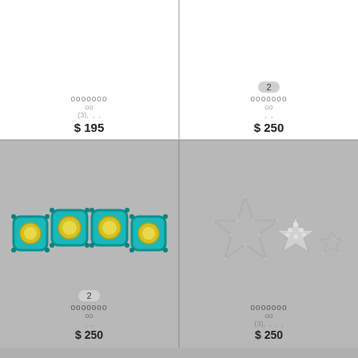[Figure (photo): Top-left product cell showing bottom portion with product name (redacted), subtext, star rating, and price $195]
ооооооо
оо
(3), , ,
$ 195
[Figure (photo): Top-right product cell showing badge '2', product name (redacted), subtext, rating, and price $250]
2
ооооооо
оо
, ,
$ 250
[Figure (photo): Turquoise and yellow gemstone bar earring or bracelet piece with 4 cushion-cut yellow stones in teal settings]
2
ооооооо
оо
, ,
$ 250
[Figure (photo): Silver star-shaped jewelry pieces: large open star frame and two smaller solid pavé star studs/earrings with diamonds]
ооооооо
оо
(3), , , ,
$ 250